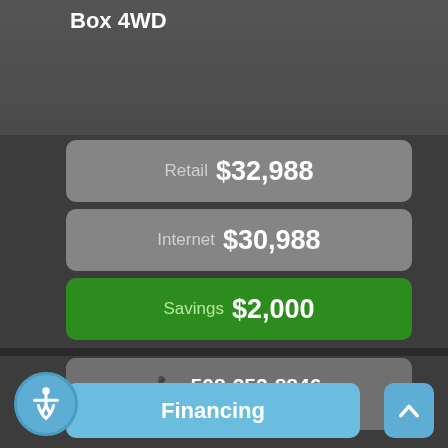Box 4WD
Retail $32,988
Internet $30,988
Savings $2,000
508-252-8846
Inquiry
Financing